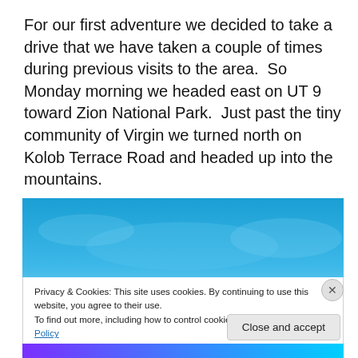For our first adventure we decided to take a drive that we have taken a couple of times during previous visits to the area.  So Monday morning we headed east on UT 9 toward Zion National Park.  Just past the tiny community of Virgin we turned north on Kolob Terrace Road and headed up into the mountains.
[Figure (photo): Photograph showing a blue sky, partially obscured by a cookie consent banner overlay.]
Privacy & Cookies: This site uses cookies. By continuing to use this website, you agree to their use.
To find out more, including how to control cookies, see here: Cookie Policy